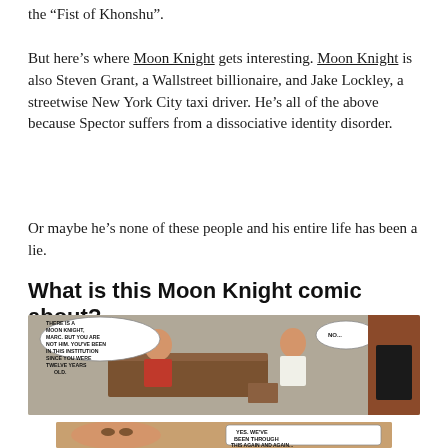the “Fist of Khonshu”.
But here’s where Moon Knight gets interesting. Moon Knight is also Steven Grant, a Wallstreet billionaire, and Jake Lockley, a streetwise New York City taxi driver. He’s all of the above because Spector suffers from a dissociative identity disorder.
Or maybe he’s none of these people and his entire life has been a lie.
What is this Moon Knight comic about?
[Figure (illustration): Comic panel showing a woman in a red top sitting at a desk speaking to a man in white. Speech bubble reads: THERE IS A MOON KNIGHT, MARC. BUT YOU ARE NOT HIM. YOU’VE BEEN IN THIS INSTITUTION SINCE YOU WERE TWELVE YEARS OLD. The man replies: NO... A brick fireplace is visible in the background.]
[Figure (illustration): Comic panel showing a close-up of a woman with speech bubble: YES. WE’VE BEEN THROUGH THIS AGAIN AND AGAIN...]